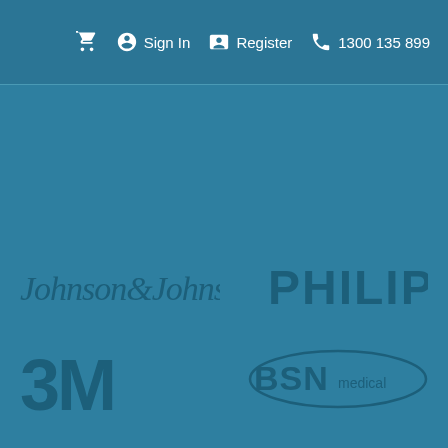🛒  👆 Sign In  🪪 Register  📞 1300 135 899
[Figure (logo): Johnson & Johnson logo in dark teal on blue background]
[Figure (logo): Philips logo in dark teal bold text on blue background]
[Figure (logo): 3M logo in dark teal on blue background]
[Figure (logo): BSN medical logo with oval border in dark teal on blue background]